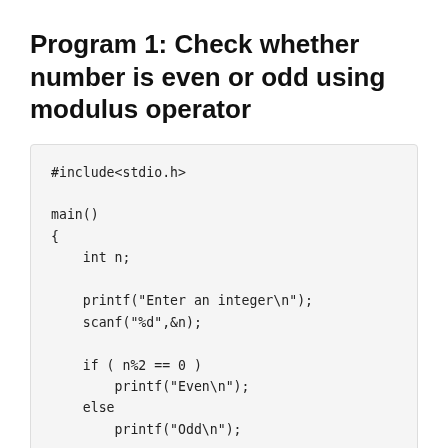Program 1: Check whether number is even or odd using modulus operator
[Figure (other): C code block showing a program to check whether a number is even or odd using the modulus operator. Code: #include<stdio.h>
main()
{
    int n;
    printf("Enter an integer\n");
    scanf("%d",&n);
    if ( n%2 == 0 )
        printf("Even\n");
    else
        printf("Odd\n");
    return 0;
}]